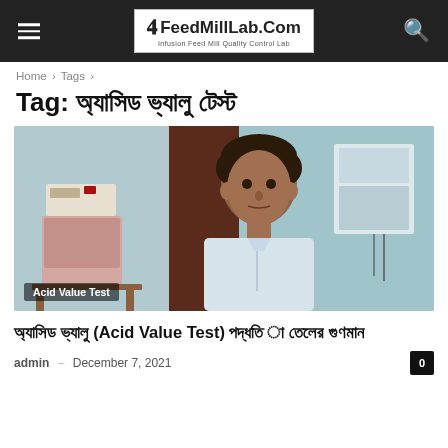FeedMillLab.Com — Infusion Feed Mill Quality Control Lab
Home › Tags ›
Tag: অ্যাসিড ভ্যালু টেস্ট
[Figure (photo): Photo of a man in a laboratory setting with lab equipment (a furnace/muffle) in the background, with an 'Acid Value Test' label overlay at the bottom left.]
অ্যাসিড ভ্যালু (Acid Value Test) পদ্ধতি – তেলের গুণমান
admin – December 7, 2021